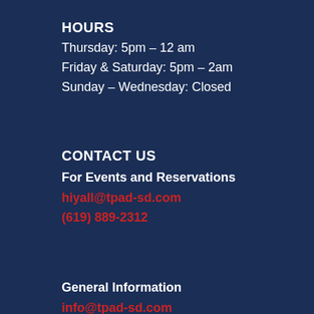HOURS
Thursday: 5pm – 12 am
Friday & Saturday: 5pm – 2am
Sunday – Wednesday: Closed
CONTACT US
For Events and Reservations
hiyall@tpad-sd.com
(619) 889-2312
General Information
info@tpad-sd.com
(619) 236-1550